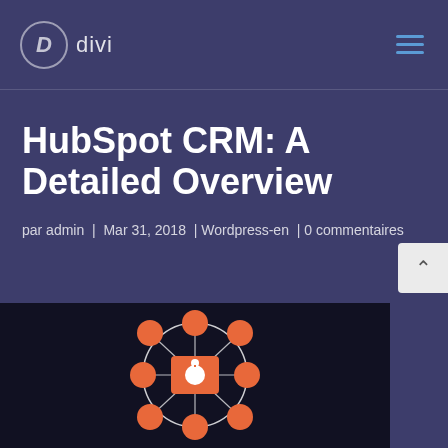D divi
HubSpot CRM: A Detailed Overview
par admin  |  Mar 31, 2018  | Wordpress-en  | 0 commentaires
[Figure (illustration): HubSpot CRM network diagram: central HubSpot logo connected to multiple orange circular nodes arranged in a circle on a dark background]